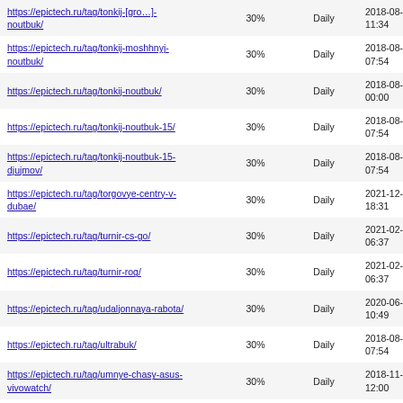| https://epictech.ru/tag/tonkij-[gro…]-noutbuk/ | 30% | Daily | 2018-08-11 11:34 |
| https://epictech.ru/tag/tonkij-moshhnyj-noutbuk/ | 30% | Daily | 2018-08-12 07:54 |
| https://epictech.ru/tag/tonkij-noutbuk/ | 30% | Daily | 2018-08-13 00:00 |
| https://epictech.ru/tag/tonkij-noutbuk-15/ | 30% | Daily | 2018-08-12 07:54 |
| https://epictech.ru/tag/tonkij-noutbuk-15-djujmov/ | 30% | Daily | 2018-08-12 07:54 |
| https://epictech.ru/tag/torgovye-centry-v-dubae/ | 30% | Daily | 2021-12-11 18:31 |
| https://epictech.ru/tag/turnir-cs-go/ | 30% | Daily | 2021-02-18 06:37 |
| https://epictech.ru/tag/turnir-rog/ | 30% | Daily | 2021-02-18 06:37 |
| https://epictech.ru/tag/udaljonnaya-rabota/ | 30% | Daily | 2020-06-25 10:49 |
| https://epictech.ru/tag/ultrabuk/ | 30% | Daily | 2018-08-12 07:54 |
| https://epictech.ru/tag/umnye-chasy-asus-vivowatch/ | 30% | Daily | 2018-11-23 12:00 |
| https://epictech.ru/tag/universalnyj-blok-pitanija-stm/ | 30% | Daily | 2018-11-08 09:21 |
| https://epictech.ru/tag/universalnyj-blok-pitanija-dlja-noutbuka/ | 30% | Daily | 2018-11-08 09:21 |